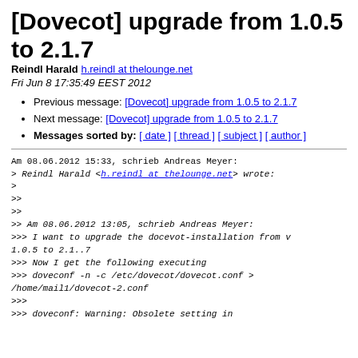[Dovecot] upgrade from 1.0.5 to 2.1.7
Reindl Harald h.reindl at thelounge.net
Fri Jun 8 17:35:49 EEST 2012
Previous message: [Dovecot] upgrade from 1.0.5 to 2.1.7
Next message: [Dovecot] upgrade from 1.0.5 to 2.1.7
Messages sorted by: [ date ] [ thread ] [ subject ] [ author ]
Am 08.06.2012 15:33, schrieb Andreas Meyer:
> Reindl Harald <h.reindl at thelounge.net> wrote:
>
>>
>>
>> Am 08.06.2012 13:05, schrieb Andreas Meyer:
>>> I want to upgrade the docevot-installation from v 1.0.5 to 2.1..7
>>> Now I get the following executing
>>> doveconf -n -c /etc/dovecot/dovecot.conf > /home/mail1/dovecot-2.conf
>>>
>>> doveconf: Warning: Obsolete setting in